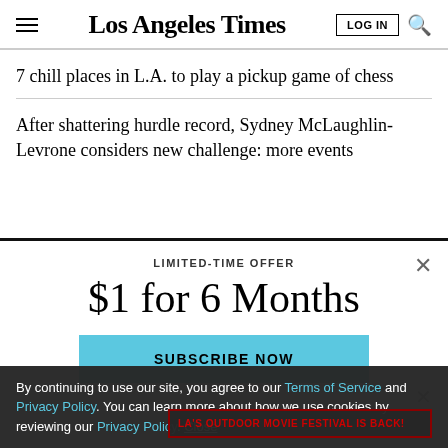Los Angeles Times
7 chill places in L.A. to play a pickup game of chess
After shattering hurdle record, Sydney McLaughlin-Levrone considers new challenge: more events
LIMITED-TIME OFFER
$1 for 6 Months
SUBSCRIBE NOW
By continuing to use our site, you agree to our Terms of Service and Privacy Policy. You can learn more about how we use cookies by reviewing our Privacy Policy. Close
LA'S OUTDOOR MOVIE FESTIVAL IS BACK!